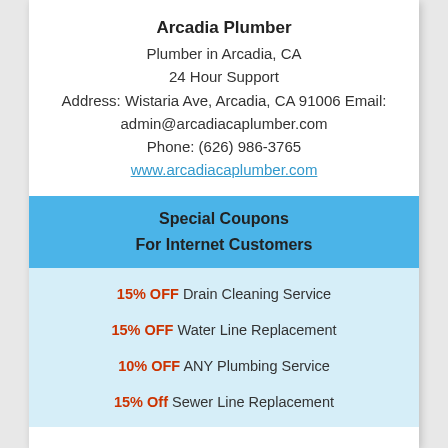Arcadia Plumber
Plumber in Arcadia, CA
24 Hour Support
Address: Wistaria Ave, Arcadia, CA 91006 Email:
admin@arcadiacaplumber.com
Phone: (626) 986-3765
www.arcadiacaplumber.com
Special Coupons
For Internet Customers
15% OFF Drain Cleaning Service
15% OFF Water Line Replacement
10% OFF ANY Plumbing Service
15% Off Sewer Line Replacement